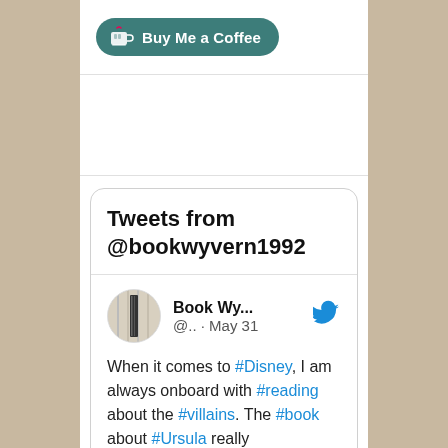[Figure (logo): Buy Me a Coffee button with teal rounded background, white cup icon and text]
Tweets from @bookwyvern1992
[Figure (photo): Circular avatar showing a pen or bookmark against book pages]
Book Wy... @.. · May 31
When it comes to #Disney, I am always onboard with #reading about the #villains. The #book about #Ursula really disappointed me, though. bit.ly/3tbz0C3